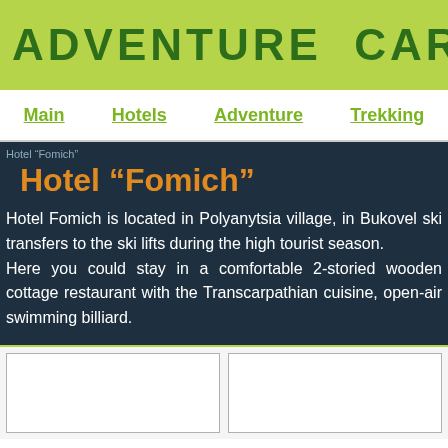ADVENTURE CARPATHIANS
Main  Hotels  Adventure  Trekking
Hotel “Fomich”
Hotel “Fomich”
Hotel Fomich is located in Polyanytsia village, in Bukovel ski transfers to the ski lifts during the high tourist season. Here you could stay in a comfortable 2-storied wooden cottage restaurant with the Transcarpathian cuisine, open-air swimming billiard.
[Figure (photo): Two photo placeholders side by side at the bottom of the page]